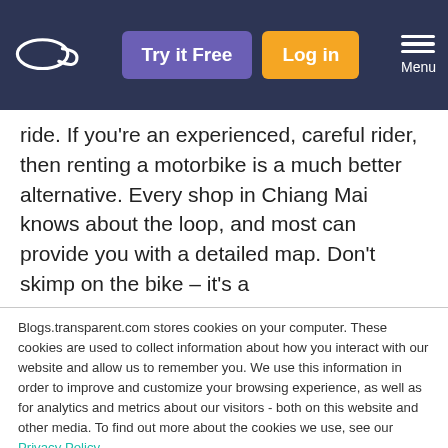Try it Free | Log in | Menu
ride. If you're an experienced, careful rider, then renting a motorbike is a much better alternative. Every shop in Chiang Mai knows about the loop, and most can provide you with a detailed map. Don't skimp on the bike – it's a
Blogs.transparent.com stores cookies on your computer. These cookies are used to collect information about how you interact with our website and allow us to remember you. We use this information in order to improve and customize your browsing experience, as well as for analytics and metrics about our visitors - both on this website and other media. To find out more about the cookies we use, see our Privacy Policy.

If you decline, your information won't be tracked when you visit this website. A single cookie will be used in your browser to remember your preference not to be tracked.
Accept | Decline